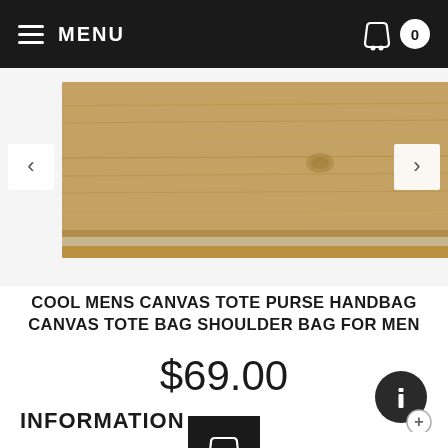MENU
[Figure (photo): Close-up photo of wooden planks/shelf in warm brown tones with navigation arrows on left and right sides]
COOL MENS CANVAS TOTE PURSE HANDBAG CANVAS TOTE BAG SHOULDER BAG FOR MEN
$69.00
[Figure (illustration): Black square add-to-cart button with white shopping basket icon]
INFORMATION